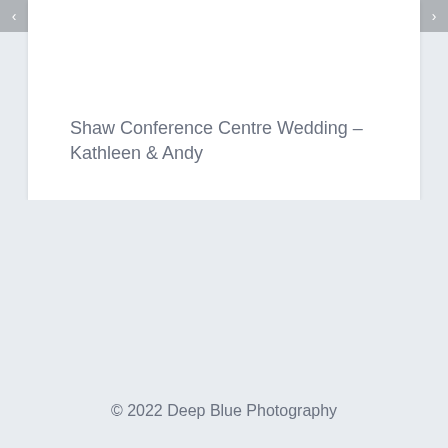Shaw Conference Centre Wedding – Kathleen & Andy
© 2022 Deep Blue Photography